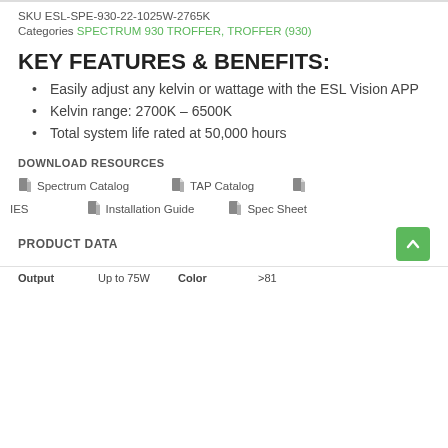SKU ESL-SPE-930-22-1025W-2765K
Categories SPECTRUM 930 TROFFER, TROFFER (930)
KEY FEATURES & BENEFITS:
Easily adjust any kelvin or wattage with the ESL Vision APP
Kelvin range: 2700K – 6500K
Total system life rated at 50,000 hours
DOWNLOAD RESOURCES
[Figure (other): Download resource links: Spectrum Catalog, TAP Catalog, IES, Installation Guide, Spec Sheet icons]
PRODUCT DATA
| Output | Up to 75W | Color | >81 |
| --- | --- | --- | --- |